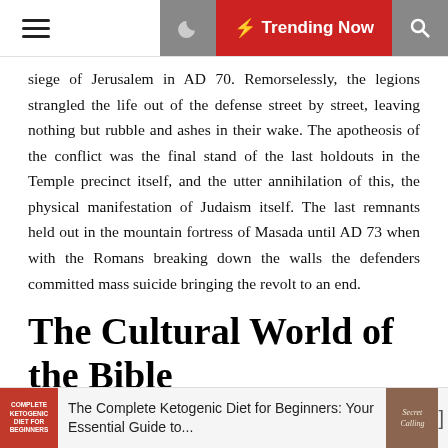☰  🌙  ⚡ Trending Now  🔍
siege of Jerusalem in AD 70. Remorselessly, the legions strangled the life out of the defense street by street, leaving nothing but rubble and ashes in their wake. The apotheosis of the conflict was the final stand of the last holdouts in the Temple precinct itself, and the utter annihilation of this, the physical manifestation of Judaism itself. The last remnants held out in the mountain fortress of Masada until AD 73 when with the Romans breaking down the walls the defenders committed mass suicide bringing the revolt to an end.
The Cultural World of the Bible
Author: Victor H. Matthews
Editor: Baker Academic
[Figure (photo): Book cover of The Cultural World of the Bible]
[Figure (photo): Advertisement: The Complete Ketogenic Diet for Beginners book cover (red background)]
The Complete Ketogenic Diet for Beginners: Your Essential Guide to...
[Figure (photo): Another book cover (brown/tan)]